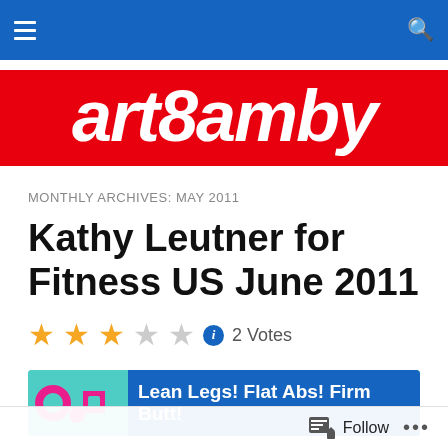art8amby navigation bar with hamburger menu and search icon
[Figure (logo): art8amby website logo — white italic bold text on red background]
MONTHLY ARCHIVES: MAY 2011
Kathy Leutner for Fitness US June 2011
2 Votes (2.5 star rating out of 5)
[Figure (infographic): Advertisement banner: Go logo with pink shapes on teal background, text 'Lean Legs! Flat Abs! Firm Butt!' on blue background]
Follow